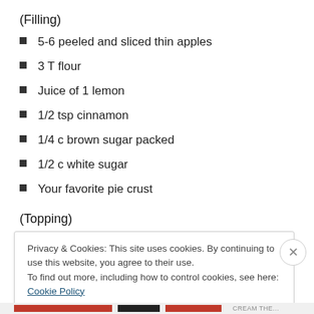(Filling)
5-6 peeled and sliced thin apples
3 T flour
Juice of 1 lemon
1/2 tsp cinnamon
1/4 c brown sugar packed
1/2 c white sugar
Your favorite pie crust
(Topping)
Privacy & Cookies: This site uses cookies. By continuing to use this website, you agree to their use.
To find out more, including how to control cookies, see here: Cookie Policy